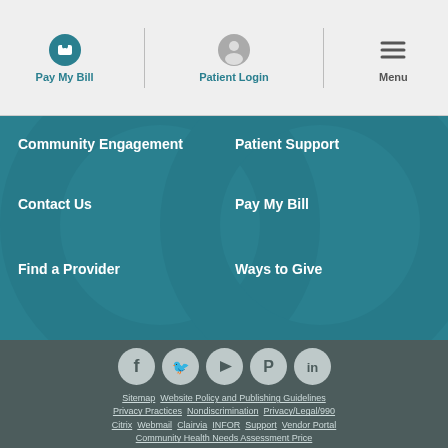Pay My Bill | Patient Login | Menu
Community Engagement
Patient Support
Contact Us
Pay My Bill
Find a Provider
Ways to Give
[Figure (other): Social media icons row: Facebook, Twitter, YouTube, Pinterest, LinkedIn]
Sitemap  Website Policy and Publishing Guidelines
Privacy Practices  Nondiscrimination  Privacy/Legal/990
Citrix  Webmail  Clairvia  INFOR  Support  Vendor Portal
Community Health Needs Assessment Price